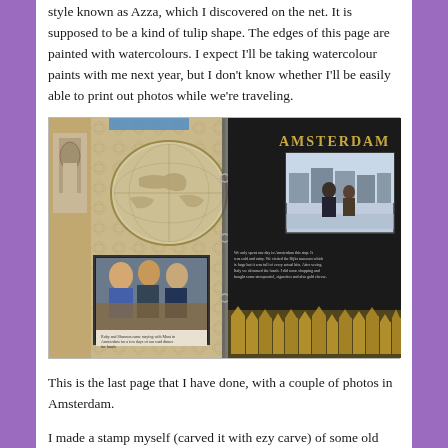style known as Azza, which I discovered on the net. It is supposed to be a kind of tulip shape. The edges of this page are painted with watercolours. I expect I'll be taking watercolour paints with me next year, but I don't know whether I'll be easily able to print out photos while we're traveling.
[Figure (photo): A scrapbook spread showing two pages. The left page has a floral/damask patterned background with a vintage world map circle graphic and a photo of three women smiling at a table with a caption below. The right page is dark/black with 'AMSTERDAM' in gold letters at top, a photo of two people standing in front of Amsterdam canal houses, handwritten journaling text, and a gold decorative border at the bottom showing Amsterdam row houses silhouette.]
This is the last page that I have done, with a couple of photos in Amsterdam.
I made a stamp myself (carved it with ezy carve) of some old Dutch houses (like you see in Amsterdam) and printed